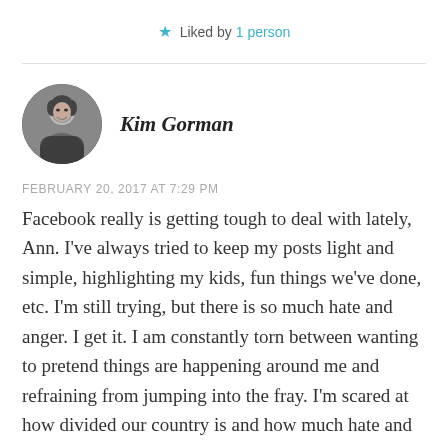★ Liked by 1 person
[Figure (photo): Circular profile photo of Kim Gorman, a woman smiling, black and white photo]
Kim Gorman
FEBRUARY 20, 2017 AT 7:29 PM
Facebook really is getting tough to deal with lately, Ann. I've always tried to keep my posts light and simple, highlighting my kids, fun things we've done, etc. I'm still trying, but there is so much hate and anger. I get it. I am constantly torn between wanting to pretend things are happening around me and refraining from jumping into the fray. I'm scared at how divided our country is and how much hate and anger